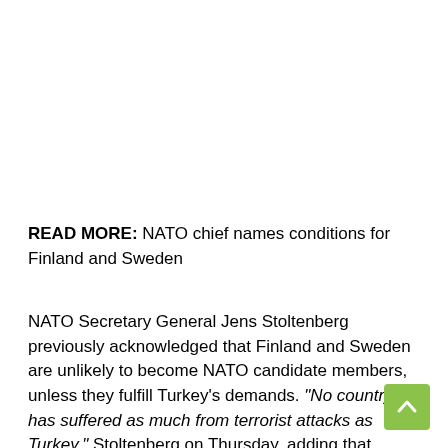READ MORE: NATO chief names conditions for Finland and Sweden
NATO Secretary General Jens Stoltenberg previously acknowledged that Finland and Sweden are unlikely to become NATO candidate members, unless they fulfill Turkey's demands. "No country has suffered as much from terrorist attacks as Turkey," Stoltenberg on Thursday, adding that Turkey is an "important ally and when